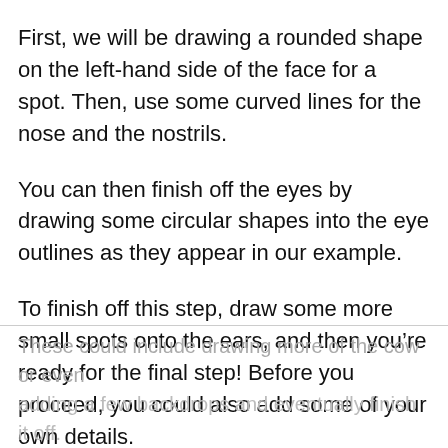First, we will be drawing a rounded shape on the left-hand side of the face for a spot. Then, use some curved lines for the nose and the nostrils.
You can then finish off the eyes by drawing some circular shapes into the eye outlines as they appear in our example.
To finish off this step, draw some more small spots onto the ears, and then you’re ready for the final step! Before you proceed, you could also add some of your own details.
These could include drawing more of the cow or even adding a few backdrops and eventually finish it off.